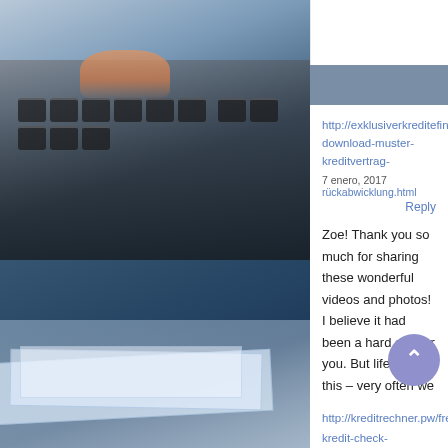[Figure (photo): Blurred background photo of a person's hand on a calculator keyboard with papers, blue-toned]
http://exklusiverkreditefinder.org/free-download-muster-kreditvertrag-
7 enero, 2017   rückabwicklung.html
Reply
Zoe! Thank you so much for sharing these wonderful videos and photos! I believe it had been a hard day for you. But life is like this – very often we need to overcome difficulties. Otherwise it would be too boring to live )))). Particularly I liked \'\''Close to You\'\'  because the melody reflects my holiday mood perfectly! It made me smile, thank you!!!
http://kreditrechner.pw/free-kredit-check-